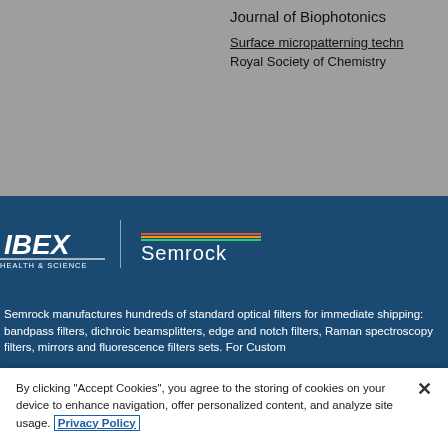Journal of Biophotonics
Surface micropatterning techn
Royal Society of Chemistry
[Figure (logo): IBEX Health & Science logo with Semrock branding on blue background]
Semrock manufactures hundreds of standard optical filters for immediate shipping: bandpass filters, dichroic beamsplitters, edge and notch filters, Raman spectroscopy filters, mirrors and fluorescence filters sets. For Custom
By clicking "Accept Cookies", you agree to the storing of cookies on your device to enhance navigation, offer personalized content, and analyze site usage. Privacy Policy